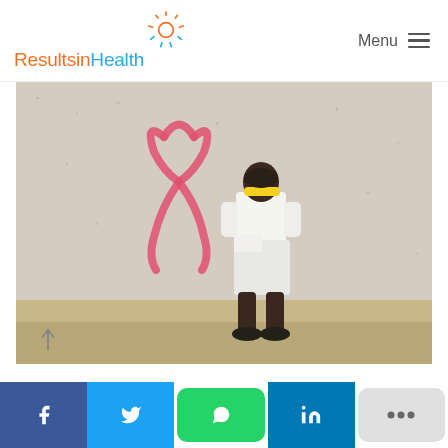ResultsinHealth — Menu
[Figure (photo): Child standing against a textured wall with a pink AIDS ribbon painted on it, wearing white clothes, a yellow visor hat, and sandals, reading a piece of paper. Sandy ground in foreground.]
[Figure (infographic): Social sharing bar with Facebook, Twitter, WhatsApp, LinkedIn, and more (...) buttons at the bottom of the page.]